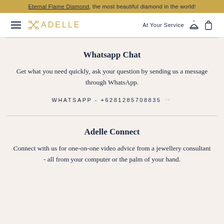Eternal Flame Diamond, the most beautiful diamond in the world!
[Figure (logo): Adelle jewellery brand logo with crossed scissors/keys icon and text ADELLE, navigation hamburger menu on left, 'At Your Service' text with bell and bag icons on right]
Whatsapp Chat
Get what you need quickly, ask your question by sending us a message through WhatsApp.
WHATSAPP - +6281285708835 →
Adelle Connect
Connect with us for one-on-one video advice from a jewellery consultant - all from your computer or the palm of your hand.